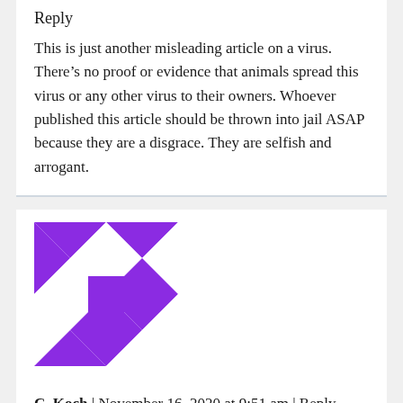Reply
This is just another misleading article on a virus. There’s no proof or evidence that animals spread this virus or any other virus to their owners. Whoever published this article should be thrown into jail ASAP because they are a disgrace. They are selfish and arrogant.
[Figure (illustration): Purple geometric/pinwheel avatar icon for commenter C. Koch]
C. Koch | November 16, 2020 at 9:51 am | Reply
Dogs are far less likely as a Covid source than arrogant “scientists” and Democrats.